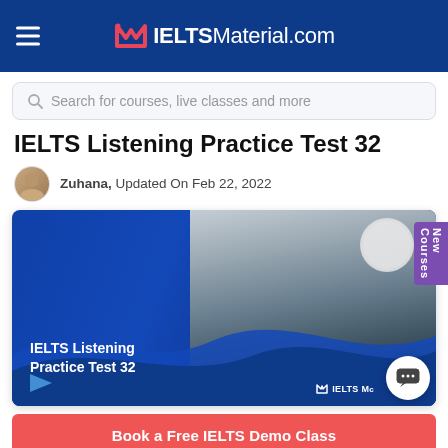IELTSMaterial.com
Search for courses, live classes and more
IELTS Listening Practice Test 32
Zuhana, Updated On Feb 22, 2022
[Figure (photo): Hero image showing a smiling man wearing white over-ear headphones and a black turtleneck, with text 'IELTS Listening Practice Test 32' overlaid on a blue wave background. IELTS Material.com logo visible at bottom right.]
Book a Free IELTS Demo Class